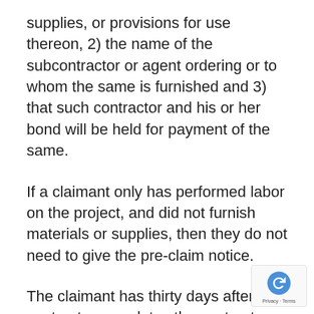supplies, or provisions for use thereon, 2) the name of the subcontractor or agent ordering or to whom the same is furnished and 3) that such contractor and his or her bond will be held for payment of the same.
If a claimant only has performed labor on the project, and did not furnish materials or supplies, then they do not need to give the pre-claim notice.
The claimant has thirty days after the contractor completes the contract work and the owner accepts the project to file notice of a claim against the payment